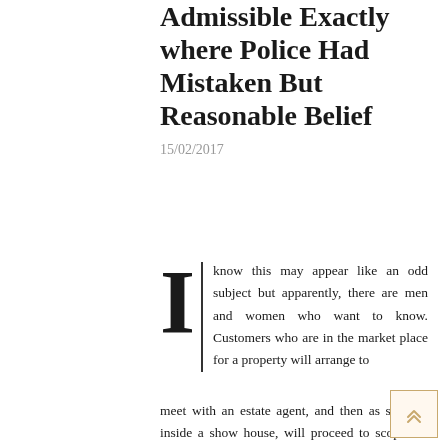Admissible Exactly where Police Had Mistaken But Reasonable Belief
15/02/2017
I know this may appear like an odd subject but apparently, there are men and women who want to know. Customers who are in the market place for a property will arrange to meet with an estate agent, and then as soon as inside a show house, will proceed to scope the spot out and even steal things whilst there. Electro residence is progressively generating its way into the mainstream but nevertheless has a sturdy underground following. By this logic, my parents, as effectively as each single other parent of the other young children who